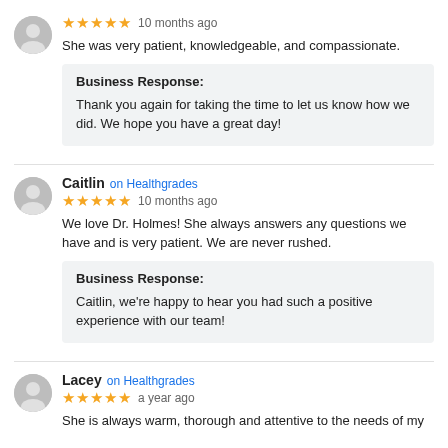She was very patient, knowledgeable, and compassionate.
Business Response: Thank you again for taking the time to let us know how we did. We hope you have a great day!
Caitlin on Healthgrades
★★★★★ 10 months ago
We love Dr. Holmes! She always answers any questions we have and is very patient. We are never rushed.
Business Response: Caitlin, we're happy to hear you had such a positive experience with our team!
Lacey on Healthgrades
★★★★★ a year ago
She is always warm, thorough and attentive to the needs of my...